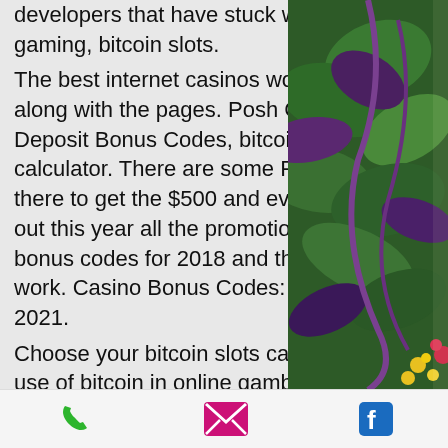developers that have stuck when it comes to online gaming, bitcoin slots. The best internet casinos worldwide will be displayed along with the pages. Posh Casino Bonus Codes - No Deposit Bonus Codes, bitcoin slot line impedance calculator. There are some Posh casino bonus codes out there to get the $500 and even Po. Since they just came out this year all the promotions out there are Posh Casino bonus codes for 2018 and those are the ones that will work. Casino Bonus Codes: New Casino Bonus Codes 2021. Choose your bitcoin slots casino carefully. Since the first use of bitcoin in online gambling during the early days of the payment options,. Explore bitcoin slot games at red dog casino ➜ 225% welcome bonus ✓ 24/7 assistance ✓ 256-bit ssl encryption. What are bitcoin slots? for over a century.
[Figure (photo): Green and purple leafy plants photographed outdoors, with small yellow and red flowers visible at the bottom right]